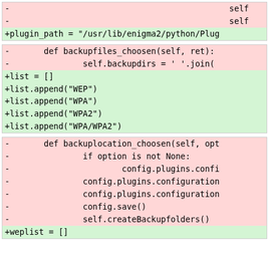[Figure (screenshot): Code diff showing removed and added lines. Block 1: removed lines with 'self', added line with plugin_path assignment. Block 2: removed lines with backupfiles_choosen function, added lines with list appends for WEP/WPA/WPA2. Block 3: removed lines with backuplocation_choosen function body, added line with weplist = [].]
- self
- self
+plugin_path = "/usr/lib/enigma2/python/Plug
-       def backupfiles_choosen(self, ret):
-               self.backupdirs = ' '.join(
+list = []
+list.append("WEP")
+list.append("WPA")
+list.append("WPA2")
+list.append("WPA/WPA2")
-       def backuplocation_choosen(self, opt
-               if option is not None:
-                       config.plugins.confi
-               config.plugins.configuration
-               config.plugins.configuration
-               config.save()
-               self.createBackupfolders()
+weplist = []